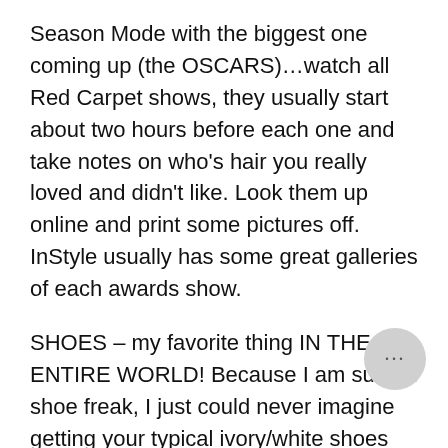Season Mode with the biggest one coming up (the OSCARS)…watch all Red Carpet shows, they usually start about two hours before each one and take notes on who's hair you really loved and didn't like. Look them up online and print some pictures off. InStyle usually has some great galleries of each awards show.
SHOES – my favorite thing IN THE ENTIRE WORLD! Because I am such a shoe freak, I just could never imagine getting your typical ivory/white shoes for my wedding day. I would have to have something fun that I can rewear over and over. That also gives you a bit more room for spending money on them know you will be getting LOTS of uses out them instead of just one day so you if you find a pair a bit